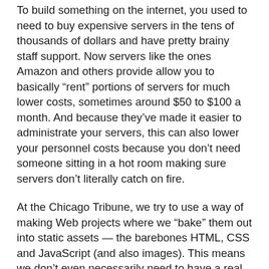To build something on the internet, you used to need to buy expensive servers in the tens of thousands of dollars and have pretty brainy staff support. Now servers like the ones Amazon and others provide allow you to basically “rent” portions of servers for much lower costs, sometimes around $50 to $100 a month. And because they’ve made it easier to administrate your servers, this can also lower your personnel costs because you don’t need someone sitting in a hot room making sure servers don’t literally catch on fire.
At the Chicago Tribune, we try to use a way of making Web projects where we “bake” them out into static assets — the barebones HTML, CSS and JavaScript (and also images). This means we don’t even necessarily need to have a real server running, so we just pay for storage on Amazon S3, which has relatively cheap costs for storage and traffic. Our users can’t tell the difference between these sites and something being served by a fancy database. And these websites don’t go down because there’s no server to go down.